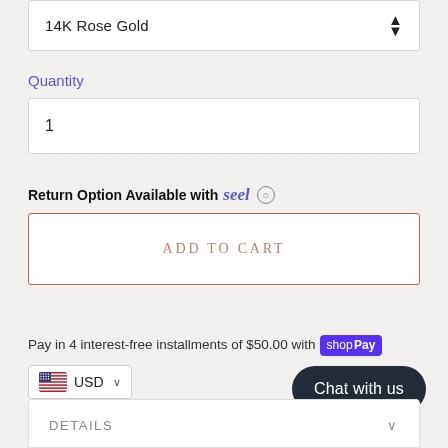14K Rose Gold
Quantity
1
Return Option Available with seel ○
ADD TO CART
Pay in 4 interest-free installments of $50.00 with shop Pay
USD
Chat with us
DETAILS